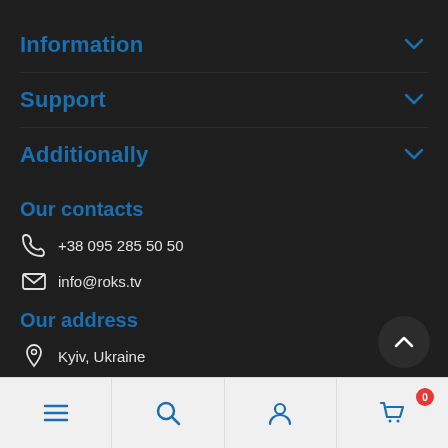Information
Support
Additionally
Our contacts
+38 095 285 50 50
info@roks.tv
Our address
Kyiv, Ukraine
9:00 - 18:00
Navigation bar with menu, search, account, and cart icons